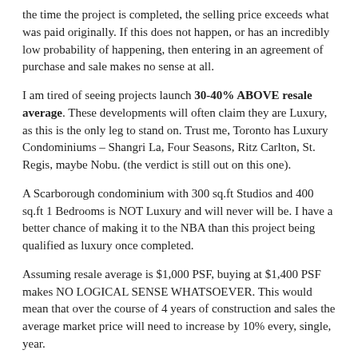the time the project is completed, the selling price exceeds what was paid originally. If this does not happen, or has an incredibly low probability of happening, then entering in an agreement of purchase and sale makes no sense at all.
I am tired of seeing projects launch 30-40% ABOVE resale average. These developments will often claim they are Luxury, as this is the only leg to stand on. Trust me, Toronto has Luxury Condominiums – Shangri La, Four Seasons, Ritz Carlton, St. Regis, maybe Nobu. (the verdict is still out on this one).
A Scarborough condominium with 300 sq.ft Studios and 400 sq.ft 1 Bedrooms is NOT Luxury and will never will be. I have a better chance of making it to the NBA than this project being qualified as luxury once completed.
Assuming resale average is $1,000 PSF, buying at $1,400 PSF makes NO LOGICAL SENSE WHATSOEVER. This would mean that over the course of 4 years of construction and sales the average market price will need to increase by 10% every, single, year.
This is not happening.
We have been blessed with a strong 2019 Market and our average increase in the condominium market is 5.5%.